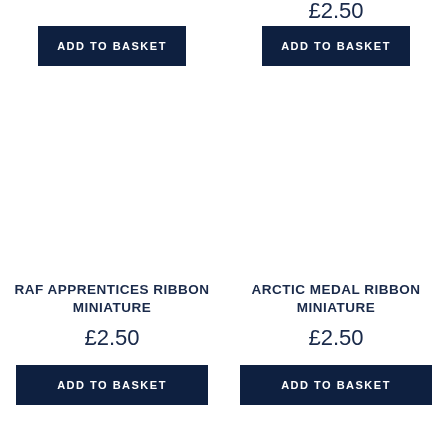£2.50
ADD TO BASKET
ADD TO BASKET
RAF APPRENTICES RIBBON MINIATURE
£2.50
ARCTIC MEDAL RIBBON MINIATURE
£2.50
ADD TO BASKET
ADD TO BASKET